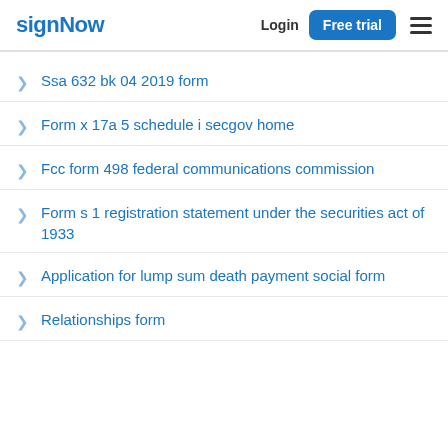signNow | Login | Free trial
Ssa 632 bk 04 2019 form
Form x 17a 5 schedule i secgov home
Fcc form 498 federal communications commission
Form s 1 registration statement under the securities act of 1933
Application for lump sum death payment social form
Relationships form